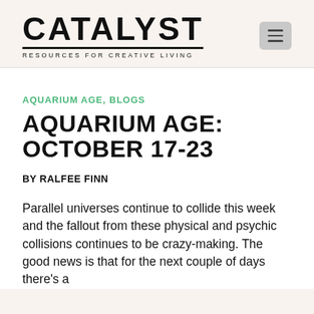[Figure (logo): Catalyst magazine logo with tagline 'RESOURCES FOR CREATIVE LIVING']
AQUARIUM AGE, BLOGS
AQUARIUM AGE: OCTOBER 17-23
BY RALFEE FINN
Parallel universes continue to collide this week and the fallout from these physical and psychic collisions continues to be crazy-making. The good news is that for the next couple of days there's a